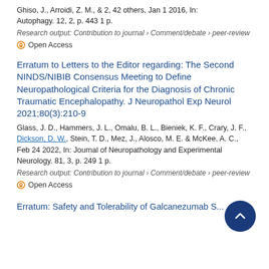Ghiso, J., Arroidi, Z. M., & 2, 42 others, Jan 1 2016, In: Autophagy. 12, 2, p. 443 1 p.
Research output: Contribution to journal › Comment/debate › peer-review
Open Access
Erratum to Letters to the Editor regarding: The Second NINDS/NIBIB Consensus Meeting to Define Neuropathological Criteria for the Diagnosis of Chronic Traumatic Encephalopathy. J Neuropathol Exp Neurol 2021;80(3):210-9
Glass, J. D., Hammers, J. L., Omalu, B. L., Bieniek, K. F., Crary, J. F., Dickson, D. W., Stein, T. D., Mez, J., Alosco, M. E. & McKee, A. C., Feb 24 2022, In: Journal of Neuropathology and Experimental Neurology. 81, 3, p. 249 1 p.
Research output: Contribution to journal › Comment/debate › peer-review
Open Access
Erratum: Safety and Tolerability of Galcanezumab S...